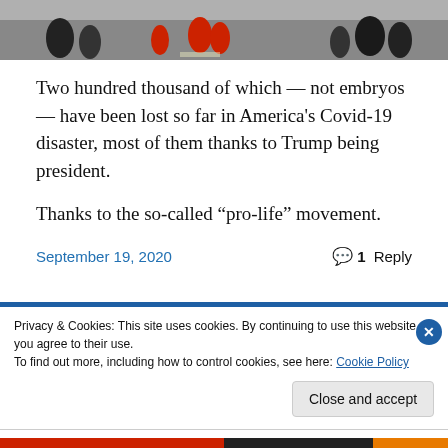[Figure (photo): Crowd of people walking on a street, some wearing red jackets, appears to be a march or public gathering]
Two hundred thousand of which — not embryos — have been lost so far in America's Covid-19 disaster, most of them thanks to Trump being president.
Thanks to the so-called “pro-life” movement.
September 19, 2020
1 Reply
Privacy & Cookies: This site uses cookies. By continuing to use this website, you agree to their use.
To find out more, including how to control cookies, see here: Cookie Policy
Close and accept